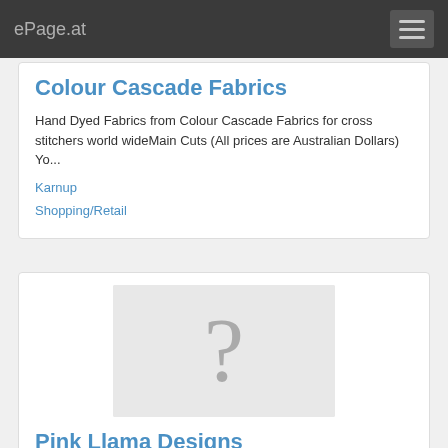ePage.at
Colour Cascade Fabrics
Hand Dyed Fabrics from Colour Cascade Fabrics for cross stitchers world wideMain Cuts (All prices are Australian Dollars) Yo...
Karnup
Shopping/Retail
[Figure (illustration): Placeholder image with a grey question mark on a light grey background]
Pink Llama Designs
...